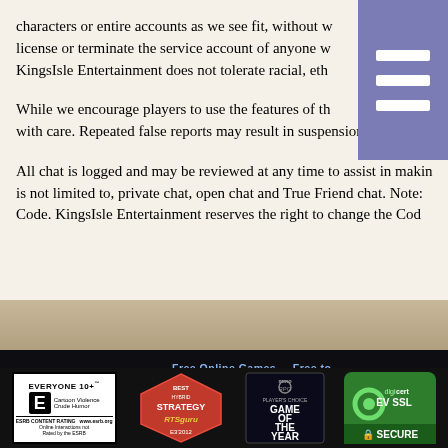characters or entire accounts as we see fit, without w… license or terminate the service account of anyone w… KingsIsle Entertainment does not tolerate racial, eth…
While we encourage players to use the features of th… with care. Repeated false reports may result in suspension or remov…
All chat is logged and may be reviewed at any time to assist in makin… is not limited to, private chat, open chat and True Friend chat. Note: … Code. KingsIsle Entertainment reserves the right to change the Cod…
[Figure (screenshot): Pirate101 website footer with logo, navigation links (Free Online Games: Free to Play Wizard101, About Us; Free to: Pirate, Game, Pirate, Game), and certification badges (ESRB Everyone 10+, Best Hybrid Strategy RTSguru E3 2012, MMO RPG Game of the Year, DigiCert EV SSL Secure)]